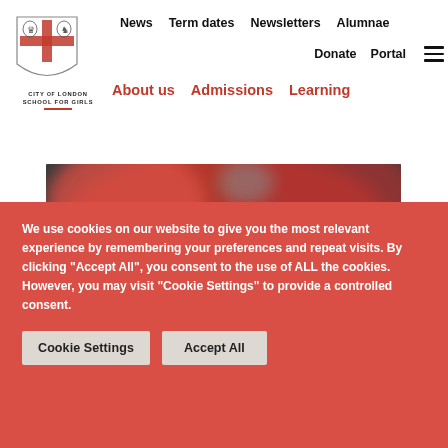[Figure (logo): City of London School for Girls shield crest logo with red cross]
News   Term dates   Newsletters   Alumnae   Donate   Portal   About us   Admissions   Learning
[Figure (photo): Blurred photo of a person in red clothing working with dark metal equipment or machinery]
We use cookies on our website to give you the most relevant experience by remembering your preferences and repeat visits. By clicking “Accept All”, you consent to the use of ALL the cookies. However, you may visit "Cookie Settings" to provide a controlled consent.
Cookie Settings
Accept All